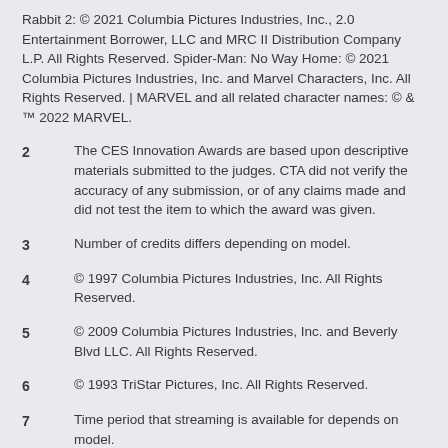Rabbit 2: © 2021 Columbia Pictures Industries, Inc., 2.0 Entertainment Borrower, LLC and MRC II Distribution Company L.P. All Rights Reserved. Spider-Man: No Way Home: © 2021 Columbia Pictures Industries, Inc. and Marvel Characters, Inc. All Rights Reserved. | MARVEL and all related character names: © & ™ 2022 MARVEL.
2  The CES Innovation Awards are based upon descriptive materials submitted to the judges. CTA did not verify the accuracy of any submission, or of any claims made and did not test the item to which the award was given.
3  Number of credits differs depending on model.
4  © 1997 Columbia Pictures Industries, Inc. All Rights Reserved.
5  © 2009 Columbia Pictures Industries, Inc. and Beverly Blvd LLC. All Rights Reserved.
6  © 1993 TriStar Pictures, Inc. All Rights Reserved.
7  Time period that streaming is available for depends on model.